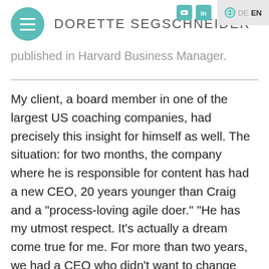DORETTE SEGSCHNEIDER
published in Harvard Business Manager.
My client, a board member in one of the largest US coaching companies, had precisely this insight for himself as well. The situation: for two months, the company where he is responsible for content has had a new CEO, 20 years younger than Craig and a "process-loving agile doer." "He has my utmost respect. It's actually a dream come true for me. For more than two years, we had a CEO who didn't want to change anything. Now we have a CEO who is open and